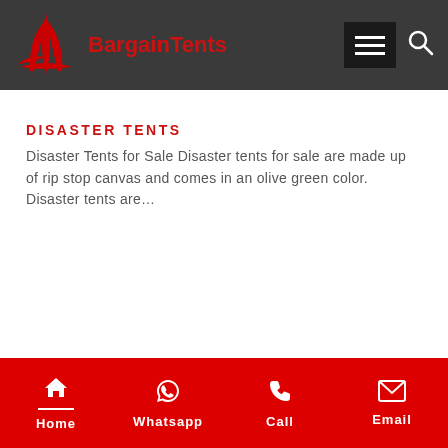BargainTents
DISASTER TENTS
Disaster Tents for Sale Disaster tents for sale are made up of rip stop canvas and comes in an olive green color. Disaster tents are…
Home | Whatsapp | Call | Email